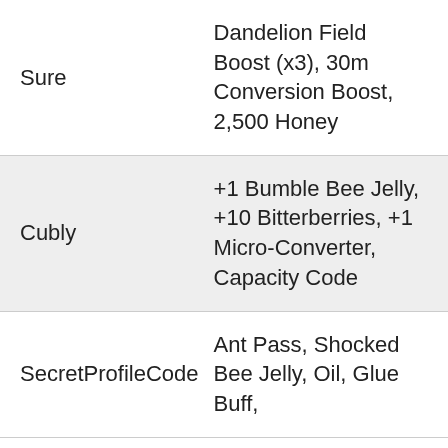| Sure | Dandelion Field Boost (x3), 30m Conversion Boost, 2,500 Honey |
| Cubly | +1 Bumble Bee Jelly, +10 Bitterberries, +1 Micro-Converter, Capacity Code |
| SecretProfileCode | Ant Pass, Shocked Bee Jelly, Oil, Glue Buff, |